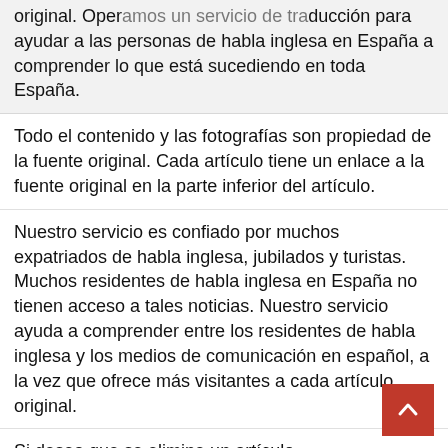original. Operamos un servicio de traducción para ayudar a las personas de habla inglesa en España a comprender lo que está sucediendo en toda España.
Todo el contenido y las fotografías son propiedad de la fuente original. Cada artículo tiene un enlace a la fuente original en la parte inferior del artículo.
Nuestro servicio es confiado por muchos expatriados de habla inglesa, jubilados y turistas. Muchos residentes de habla inglesa en España no tienen acceso a tales noticias. Nuestro servicio ayuda a comprender entre los residentes de habla inglesa y los medios de comunicación en español, a la vez que ofrece más visitantes a cada artículo original.
Si desea que se elimine un artículo, puede contactarnos con la URL y la prueba de los derechos de propiedad para eliminar cualquier